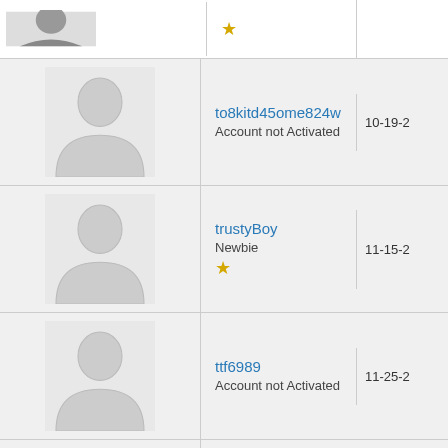| Avatar | Username / Status | Date |
| --- | --- | --- |
| [photo] | [star] |  |
| [silhouette] | to8kitd45ome824w
Account not Activated | 10-19-2 |
| [silhouette] | trustyBoy
Newbie
★ | 11-15-2 |
| [silhouette] | ttf6989
Account not Activated | 11-25-2 |
| [silhouette] | TrademarkSearchandlegal
Newbie
★ | 11-26-2 |
| [silhouette] | TriironmanKP
Newbie
★ | 11-29-2 |
| [silhouette] |  |  |